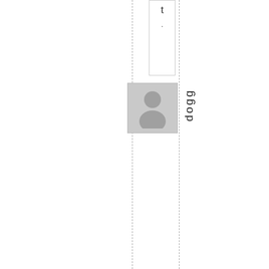t .
[Figure (photo): Gray placeholder profile photo with person silhouette icon]
dogg
iedog142
September 29, 2